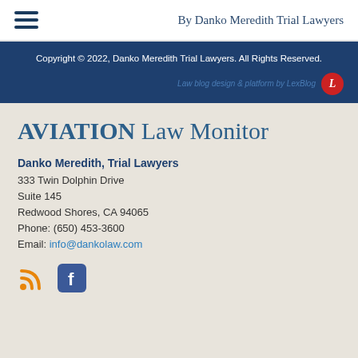By Danko Meredith Trial Lawyers
Copyright © 2022, Danko Meredith Trial Lawyers. All Rights Reserved.
Law blog design & platform by LexBlog
AVIATION Law Monitor
Danko Meredith, Trial Lawyers
333 Twin Dolphin Drive
Suite 145
Redwood Shores, CA 94065
Phone: (650) 453-3600
Email: info@dankolaw.com
[Figure (logo): RSS feed icon (orange) and Facebook icon (blue square with f)]